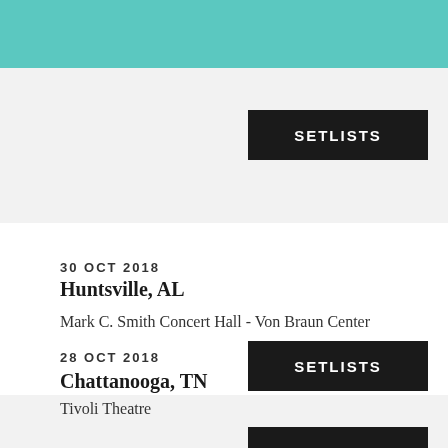SETLISTS
30 OCT 2018
Huntsville, AL
Mark C. Smith Concert Hall - Von Braun Center
SETLISTS
28 OCT 2018
Chattanooga, TN
Tivoli Theatre
SETLISTS